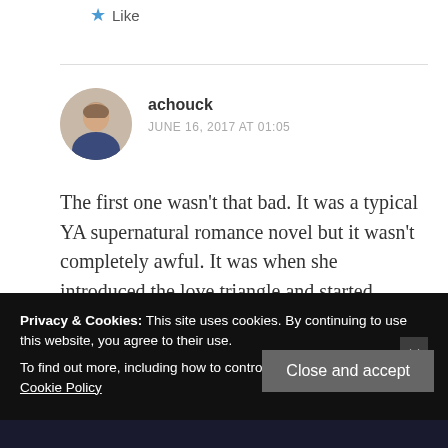★ Like
achouck
JUNE 16, 2017 AT 01:05
The first one wasn't that bad. It was a typical YA supernatural romance novel but it wasn't completely awful. It was when she introduced the love triangle and started breaking her own rules that I couldn't read them anymore.
Privacy & Cookies: This site uses cookies. By continuing to use this website, you agree to their use.
To find out more, including how to control cookies, see here: Our Cookie Policy
Close and accept